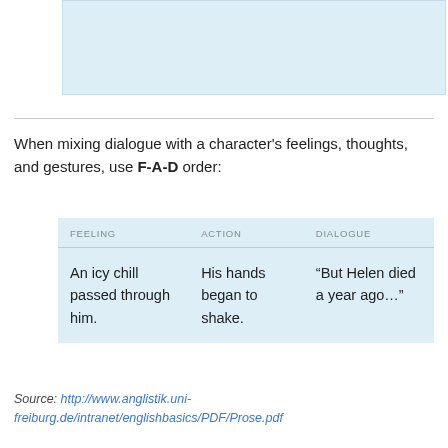[Figure (other): Light blue rectangle box at top of page]
When mixing dialogue with a character's feelings, thoughts, and gestures, use F-A-D order:
| FEELING | ACTION | DIALOGUE |
| --- | --- | --- |
| An icy chill passed through him. | His hands began to shake. | “But Helen died a year ago…” |
Source: http://www.anglistik.uni-freiburg.de/intranet/englishbasics/PDF/Prose.pdf